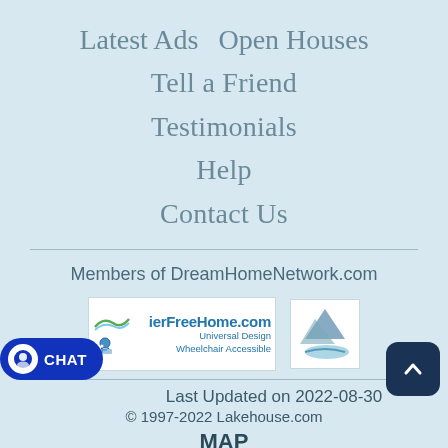Latest Ads   Open Houses
Tell a Friend
Testimonials
Help
Contact Us
Members of DreamHomeNetwork.com
[Figure (logo): BarrierFreeHome.com logo with Universal Design Wheelchair Accessible text and icons]
[Figure (logo): Partially visible mountain/lake logo]
Last Updated on 2022-08-30
© 1997-2022 Lakehouse.com
MAP